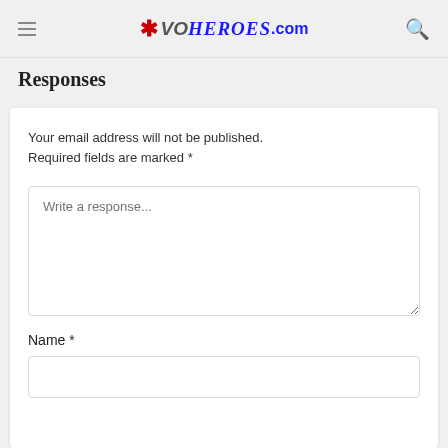* VOHeroes.com
Responses
Your email address will not be published. Required fields are marked *
Write a response...
Name *